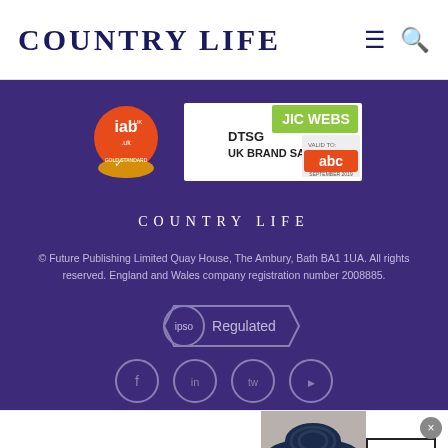COUNTRY LIFE
[Figure (logo): IAB UK gold standard badge (orange circle)]
[Figure (logo): DTSG JICWebs UK Brand Safety badge with ABC audit valid to September 2019]
COUNTRY LIFE
© Future Publishing Limited Quay House, The Ambury, Bath BA1 1UA. All rights reserved. England and Wales company registration number 2008885.
[Figure (logo): IPSO Regulated badge]
[Figure (logo): Social media icon circles row (partially visible at bottom)]
[Figure (illustration): Bloomingdales advertisement banner: bloomingdales logo, 'View Today's Top Deals!', woman in hat, SHOP NOW > button]